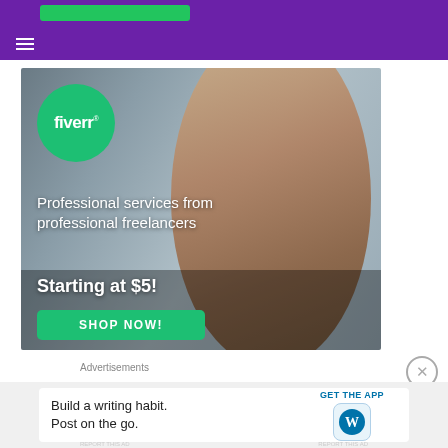Purple navigation header with hamburger menu
[Figure (photo): Fiverr advertisement banner showing a woman working on a laptop with the Fiverr logo in a green circle. Text reads: Professional services from professional freelancers. Starting at $5! SHOP NOW!]
Advertisements
[Figure (infographic): WordPress mobile app advertisement: Build a writing habit. Post on the go. GET THE APP with WordPress logo icon.]